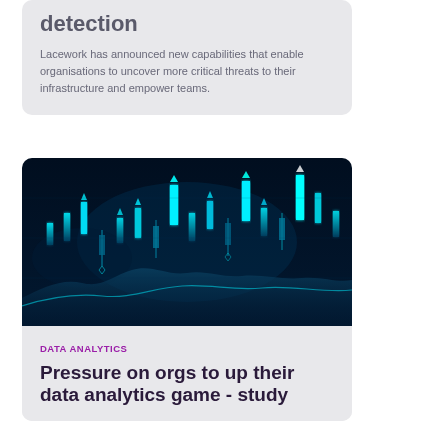detection
Lacework has announced new capabilities that enable organisations to uncover more critical threats to their infrastructure and empower teams.
[Figure (photo): Dark blue background with glowing cyan candlestick chart patterns and a wave/area chart at the bottom, representing financial or data analytics visualization.]
DATA ANALYTICS
Pressure on orgs to up their data analytics game - study